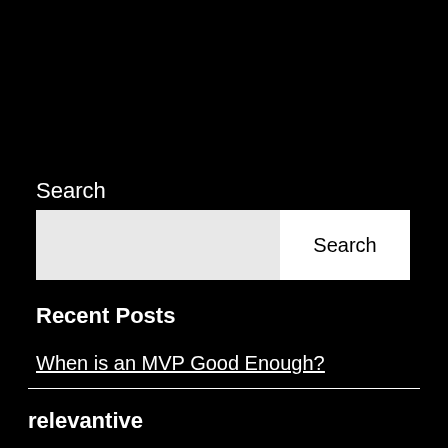Search
[Figure (screenshot): Search input field with a light gray text input area on the left and a white 'Search' button on the right]
Recent Posts
When is an MVP Good Enough?
relevantive